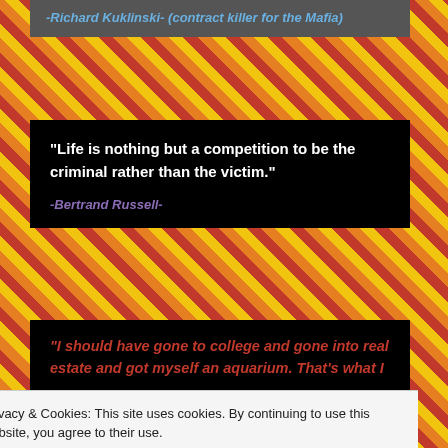-Richard Kuklinski- (contract killer for the Mafia)
“Life is nothing but a competition to be the criminal rather than the victim.”
-Bertrand Russell-
“I should have gone to college and gone into real estate and got myself an aquarium.  That’s what I
Privacy & Cookies: This site uses cookies. By continuing to use this website, you agree to their use.
To find out more, including how to control cookies, see here: Cookie Policy